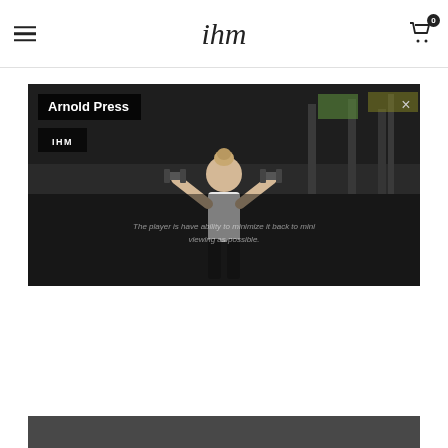ihm
[Figure (screenshot): Video thumbnail for 'Arnold Press' workout by IHM. Shows a woman with blonde hair in a bun performing a dumbbell press in a gym. Dark overlay with title 'Arnold Press' and brand 'IHM' in top left. Close button (×) in top right. Faint italic text overlay reads 'The player is have ability to minimize it back to mini viewing as possible.' Background shows gym equipment.]
[Figure (photo): Partial photo visible at the very bottom of the page, showing a dark/neutral colored scene, cropped.]